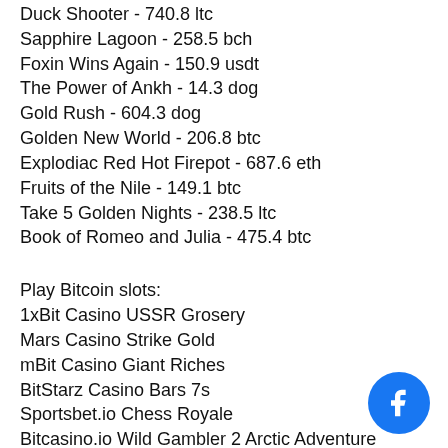Duck Shooter - 740.8 ltc
Sapphire Lagoon - 258.5 bch
Foxin Wins Again - 150.9 usdt
The Power of Ankh - 14.3 dog
Gold Rush - 604.3 dog
Golden New World - 206.8 btc
Explodiac Red Hot Firepot - 687.6 eth
Fruits of the Nile - 149.1 btc
Take 5 Golden Nights - 238.5 ltc
Book of Romeo and Julia - 475.4 btc
Play Bitcoin slots:
1xBit Casino USSR Grosery
Mars Casino Strike Gold
mBit Casino Giant Riches
BitStarz Casino Bars 7s
Sportsbet.io Chess Royale
Bitcasino.io Wild Gambler 2 Arctic Adventure
OneHash King Kong
Syndicate Casino Spy Game
FortuneJack Casino Gold Rush